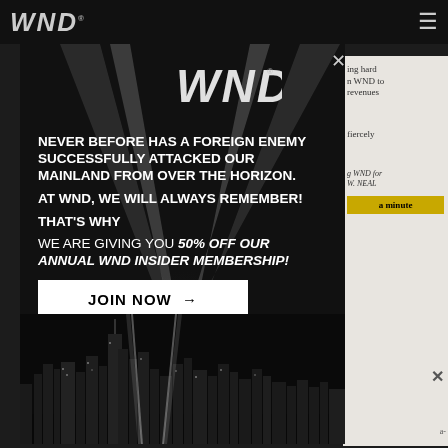WND
[Figure (screenshot): WND website navigation bar with WND logo on left and hamburger menu icon on right, dark background]
[Figure (infographic): WND modal popup advertisement on dark background with NYC skyline and twin light beams. Contains WND logo, text: NEVER BEFORE HAS A FOREIGN ENEMY SUCCESSFULLY ATTACKED OUR MAINLAND FROM OVER THE HORIZON. AT WND, WE WILL ALWAYS REMEMBER! THAT'S WHY WE ARE GIVING YOU 50% OFF OUR ANNUAL WND INSIDER MEMBERSHIP! JOIN NOW button. Background shows black and white NYC skyline with tribute light beams.]
ing hard n WND to revenues
fiercely
g WND for W. NEAL
a minute
a-